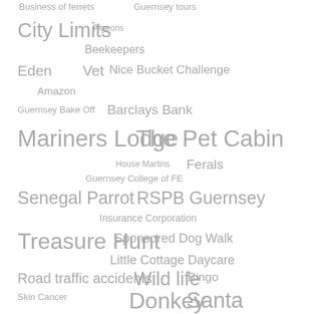[Figure (infographic): Tag cloud / word cloud with various terms in different font sizes and grey color, arranged across the page. Terms include: Business of ferrets, Guernsey tours, City Limits, Pigeons, Beekeepers, Eden, Vet, Nice Bucket Challenge, Amazon, Guernsey Bake Off, Barclays Bank, Mariners Lodge, The Pet Cabin, House Martins, Ferals, Guernsey College of FE, Senegal Parrot, RSPB Guernsey, Insurance Corporation, Treasure Hunt, Sponsored Dog Walk, Little Cottage Daycare, Road traffic accidents, Wild life, Bingo, Skin Cancer, Donkey, Santa, GSPCA Shop, Guernsey Tax, Thanks, Twitter, Oil Spill, Poppy Day, ITV]